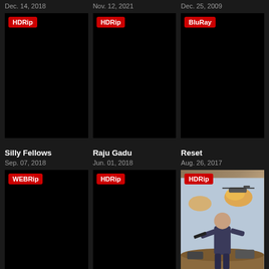Dec. 14, 2018
Nov. 12, 2021
Dec. 25, 2009
[Figure (photo): Movie poster with HDRip badge, black background]
[Figure (photo): Movie poster with HDRip badge, black background]
[Figure (photo): Movie poster with BluRay badge, black background]
Silly Fellows
Sep. 07, 2018
Raju Gadu
Jun. 01, 2018
Reset
Aug. 26, 2017
[Figure (photo): Movie poster with WEBRip badge, black background]
[Figure (photo): Movie poster with HDRip badge, black background]
[Figure (photo): Movie poster with HDRip badge, action scene with man holding gun and helicopters]